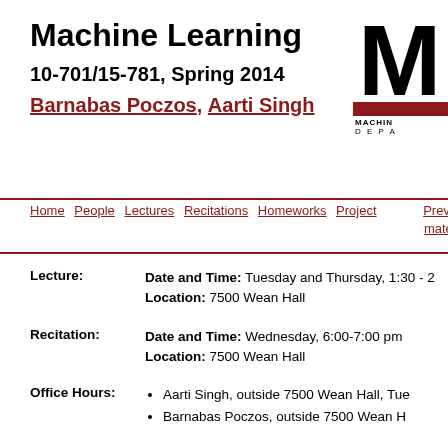Machine Learning
10-701/15-781, Spring 2014
Barnabas Poczos, Aarti Singh
[Figure (logo): CMU Machine Learning department logo with large M letter and dark red bar]
Home  People  Lectures  Recitations  Homeworks  Project  Previous materials
Lecture: Date and Time: Tuesday and Thursday, 1:30 - ... Location: 7500 Wean Hall
Recitation: Date and Time: Wednesday, 6:00-7:00 pm Location: 7500 Wean Hall
Office Hours: Aarti Singh, outside 7500 Wean Hall, Tue...
Barnabas Poczos, outside 7500 Wean Hall...